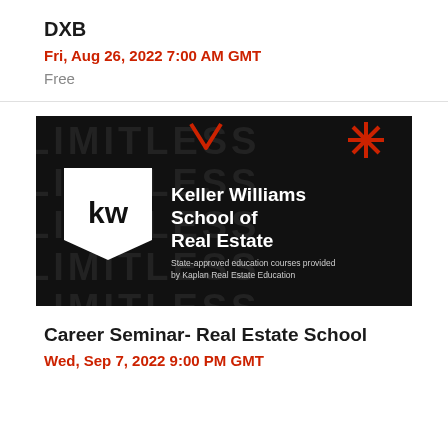DXB
Fri, Aug 26, 2022 7:00 AM GMT
Free
[Figure (logo): Keller Williams School of Real Estate banner on black background with LIMITLESS watermark text, KW shield logo, and red asterisk/chevron decorations. Text reads: Keller Williams School of Real Estate. State-approved education courses provided by Kaplan Real Estate Education.]
Career Seminar- Real Estate School
Wed, Sep 7, 2022 9:00 PM GMT